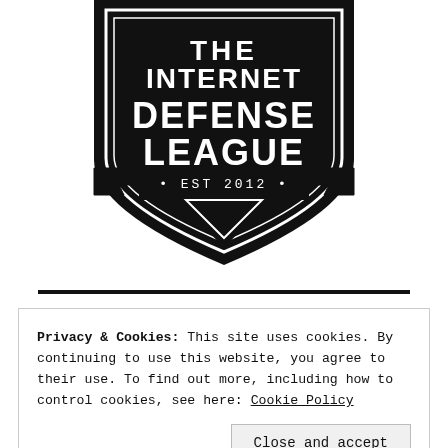[Figure (logo): The Internet Defense League shield logo with text 'THE INTERNET DEFENSE LEAGUE' and '* EST 2012 *' in black and white]
Privacy & Cookies: This site uses cookies. By continuing to use this website, you agree to their use. To find out more, including how to control cookies, see here: Cookie Policy
Close and accept